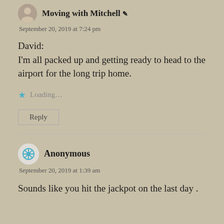Moving with Mitchell ✎
September 20, 2019 at 7:24 pm
David:
I'm all packed up and getting ready to head to the airport for the long trip home.
Loading...
Reply
Anonymous
September 20, 2019 at 1:39 am
Sounds like you hit the jackpot on the last day .